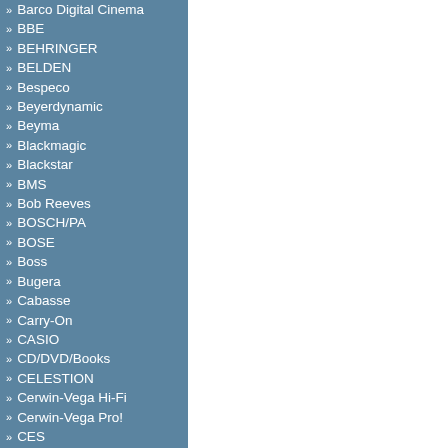Barco Digital Cinema
BBE
BEHRINGER
BELDEN
Bespeco
Beyerdynamic
Beyma
Blackmagic
Blackstar
BMS
Bob Reeves
BOSCH/PA
BOSE
Boss
Bugera
Cabasse
Carry-On
CASIO
CD/DVD/Books
CELESTION
Cerwin-Vega Hi-Fi
Cerwin-Vega Pro!
CES
Charvel
CHAUVET DJ
Chauvet Professional
Chief
Clay Paky
Clearone
CME
Colorbo
CORDIAL
Cort